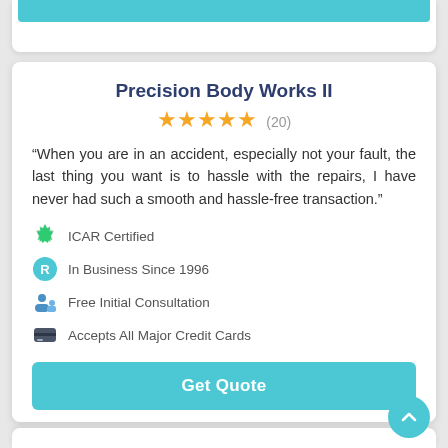Precision Body Works II
“When you are in an accident, especially not your fault, the last thing you want is to hassle with the repairs, I have never had such a smooth and hassle-free transaction.”
ICAR Certified
In Business Since 1996
Free Initial Consultation
Accepts All Major Credit Cards
Get Quote